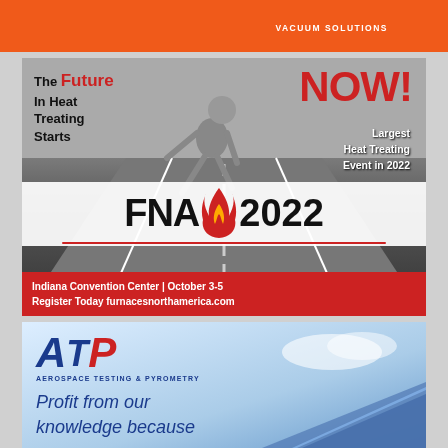VACUUM SOLUTIONS
[Figure (illustration): FNA 2022 advertisement: man in starting position on road, text 'The Future In Heat Treating Starts NOW!' and 'Largest Heat Treating Event in 2022', FNA 2022 logo with flame, Indiana Convention Center | October 3-5, Register Today furnacesnorthamerica.com]
[Figure (illustration): ATP Aerospace Testing & Pyrometry advertisement with logo and airplane wing, text 'Profit from our knowledge because']